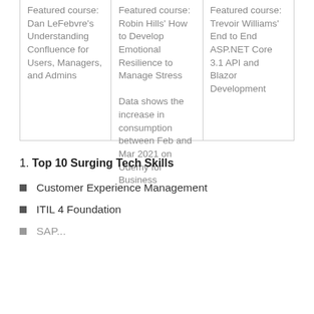Featured course: Dan LeFebvre's Understanding Confluence for Users, Managers, and Admins
Featured course: Robin Hills' How to Develop Emotional Resilience to Manage Stress
Data shows the increase in consumption between Feb and Mar 2021 on Udemy for Business
Featured course: Trevoir Williams' End to End ASP.NET Core 3.1 API and Blazor Development
1. Top 10 Surging Tech Skills
Customer Experience Management
ITIL 4 Foundation
SAP...